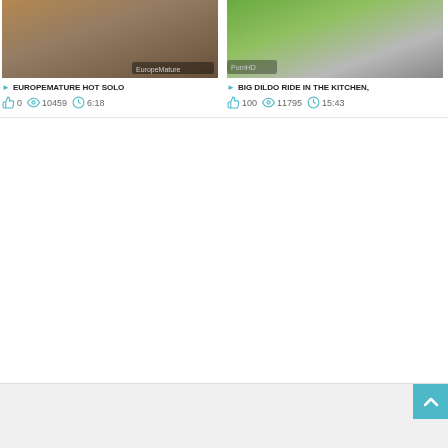[Figure (screenshot): Thumbnail image for video: EuropeMature Hot Solo - woman in black stockings]
[Figure (screenshot): Thumbnail image for video: Big Dildo Ride In The Kitchen - woman in blue dress in kitchen]
EUROPEMATURE HOT SOLO
0  10459  6:18
BIG DILDO RIDE IN THE KITCHEN,
100  11795  15:43